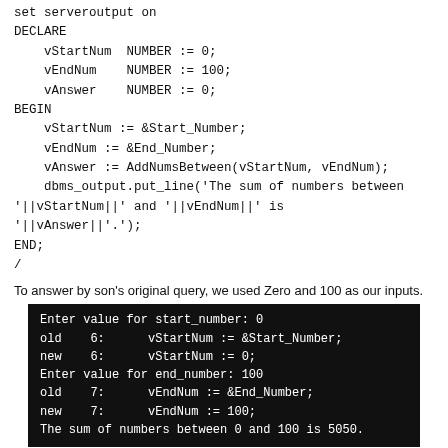set serveroutput on
DECLARE
    vStartNum  NUMBER := 0;
    vEndNum    NUMBER := 100;
    vAnswer    NUMBER := 0;
BEGIN
    vStartNum := &Start_Number;
    vEndNum := &End_Number;
    vAnswer := AddNumsBetween(vStartNum, vEndNum);
    dbms_output.put_line('The sum of numbers between '||vStartNum||' and '||vEndNum||' is '||vAnswer||'.');
END;
/
To answer by son's original query, we used Zero and 100 as our inputs.
[Figure (screenshot): Terminal output showing: Enter value for start_number: 0, old 6: vStartNum := &Start_Number;, new 6: vStartNum := 0;, Enter value for end_number: 100, old 7: vEndNum := &End_Number;, new 7: vEndNum := 100;, The sum of numbers between 0 and 100 is 5050.]